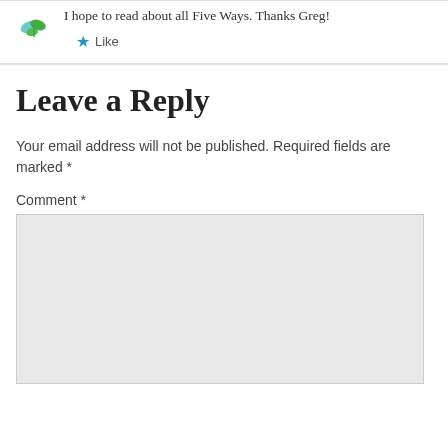I hope to read about all Five Ways. Thanks Greg!
★ Like
Leave a Reply
Your email address will not be published. Required fields are marked *
Comment *